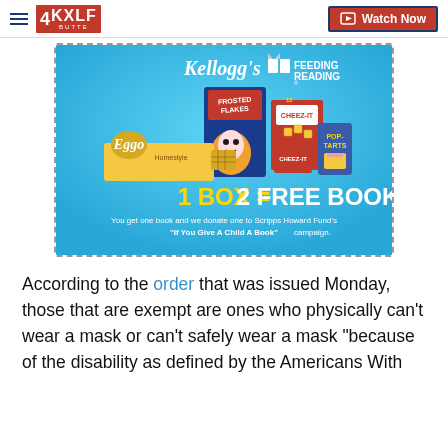4KXLF Butte | Watch Now
[Figure (illustration): Kellogg's Feeding Reading advertisement. Blue background with dashed border. Shows Frosted Flakes box, Cheez-It boxes, Pop-Tarts, and Eggo waffles box. Text: '1 BOX = 2 FREE BOOKS. You get one book and we donate one to Scripps Howard Fund's "If You Give A Child A Book" campaign.']
According to the order that was issued Monday, those that are exempt are ones who physically can't wear a mask or can't safely wear a mask "because of the disability as defined by the Americans With Disabilities Act."